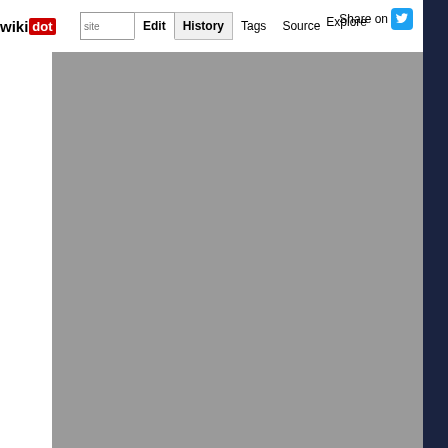wiki dot | Edit | History | Tags | Source | Explore | Share on
[Figure (screenshot): Wikidot website interface screenshot showing navigation bar with logo, Edit, History, Tags, Source, Explore, Share on buttons, and a large gray content area with dark navy right sidebar]